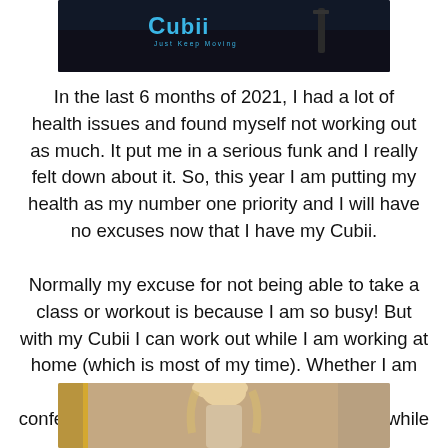[Figure (photo): Top portion of a Cubii exercise pedaler product photo on a dark mat with the Cubii logo visible]
In the last 6 months of 2021, I had a lot of health issues and found myself not working out as much. It put me in a serious funk and I really felt down about it. So, this year I am putting my health as my number one priority and I will have no excuses now that I have my Cubii.
Normally my excuse for not being able to take a class or workout is because I am so busy! But with my Cubii I can work out while I am working at home (which is most of my time). Whether I am on the couch, on my computer, or on a conference call I can pedal away and stay fit while I sit!
[Figure (photo): Bottom portion of a photo showing a blonde woman in an interior setting]